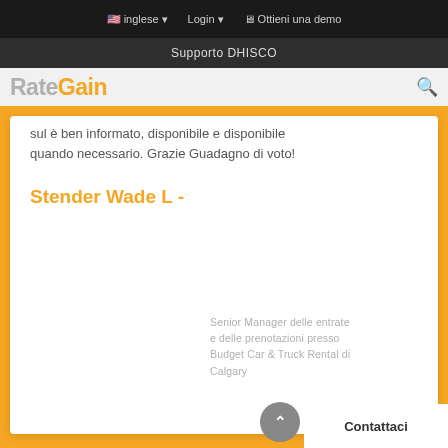inglese   Login   Ottieni una demo
Supporto DHISCO
[Figure (logo): RateGain logo with 'Rate' in gray and 'Gain' in orange, bold]
sulâ è ben informato, disponibile e disponibile quando necessario. Grazie Guadagno di voto!
Stender Wade L -
Senior Manager delle entrate e delle prenotazioni presso Budget Car & Truck Rental di Calgary
Contattaci